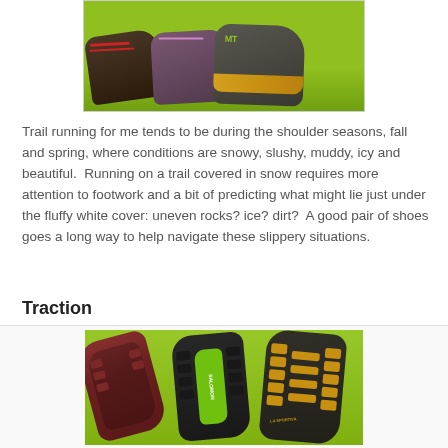[Figure (photo): Three trail running shoes arranged side by side on a green surface, viewed from the front/side, showing different styles and colors]
Trail running for me tends to be during the shoulder seasons, fall and spring, where conditions are snowy, slushy, muddy, icy and beautiful.  Running on a trail covered in snow requires more attention to footwork and a bit of predicting what might lie just under the fluffy white cover: uneven rocks? ice? dirt?  A good pair of shoes goes a long way to help navigate these slippery situations.
Traction
[Figure (photo): Three trail running shoe soles shown facing up on a green surface, displaying different tread patterns and lugs in red, black/green, and yellow/black colors]